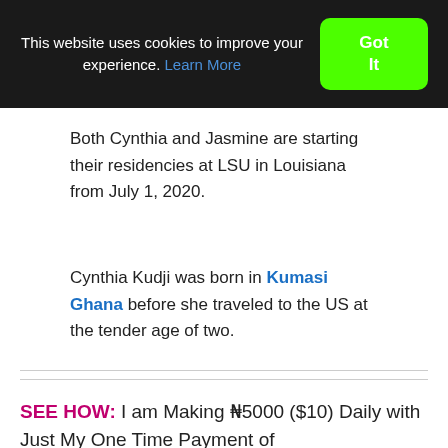This website uses cookies to improve your experience. Learn More  Got It
Both Cynthia and Jasmine are starting their residencies at LSU in Louisiana from July 1, 2020.
Cynthia Kudji was born in Kumasi Ghana before she traveled to the US at the tender age of two.
SEE HOW: I am Making ₦5000 ($10) Daily with Just My One Time Payment of